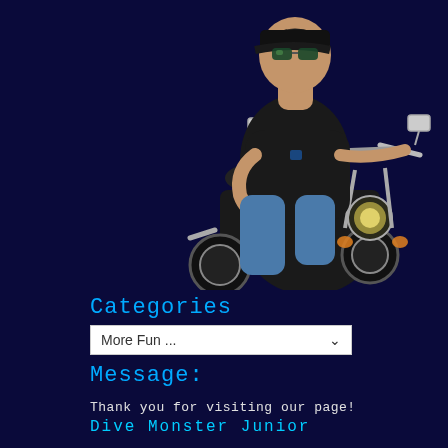[Figure (photo): A man wearing a black cap, sunglasses, and black t-shirt sitting on a motorcycle/cruiser bike with chrome details, photographed against a dark navy background.]
Categories
More Fun ...
Message:
Thank you for visiting our page!
Dive Monster Junior